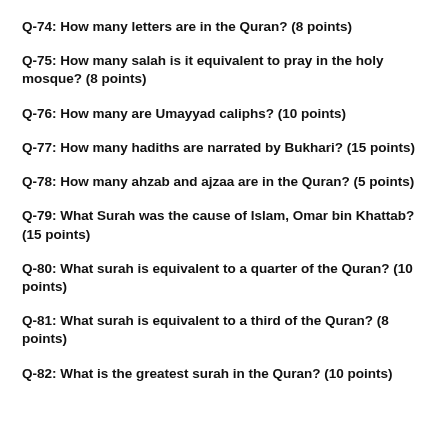Q-74: How many letters are in the Quran? (8 points)
Q-75: How many salah is it equivalent to pray in the holy mosque? (8 points)
Q-76: How many are Umayyad caliphs? (10 points)
Q-77: How many hadiths are narrated by Bukhari? (15 points)
Q-78: How many ahzab and ajzaa are in the Quran? (5 points)
Q-79: What Surah was the cause of Islam, Omar bin Khattab? (15 points)
Q-80: What surah is equivalent to a quarter of the Quran? (10 points)
Q-81: What surah is equivalent to a third of the Quran? (8 points)
Q-82: What is the greatest surah in the Quran? (10 points)